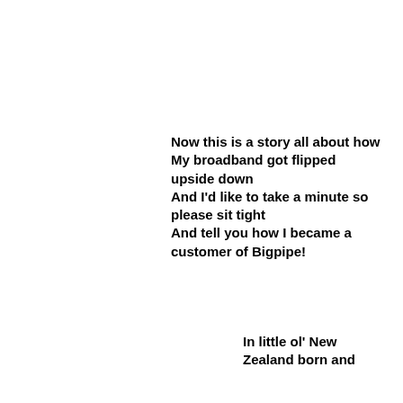Now this is a story all about how
My broadband got flipped upside down
And I'd like to take a minute so please sit tight
And tell you how I became a customer of Bigpipe!
In little ol' New Zealand born and